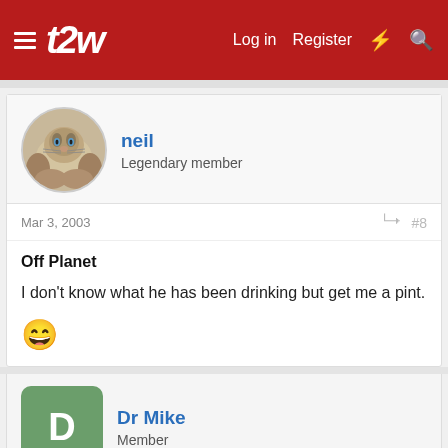t2w | Log in | Register
neil
Legendary member
Mar 3, 2003  #8
Off Planet
I don't know what he has been drinking but get me a pint.
😄
Dr Mike
Member